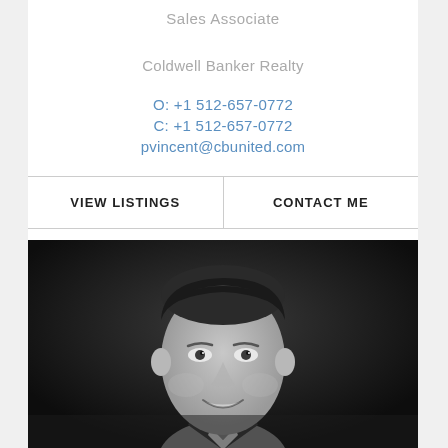Sales Associate
Coldwell Banker Realty
O: +1 512-657-0772
C: +1 512-657-0772
pvincent@cbunited.com
VIEW LISTINGS
CONTACT ME
[Figure (photo): Black and white professional headshot of a smiling man in a suit]